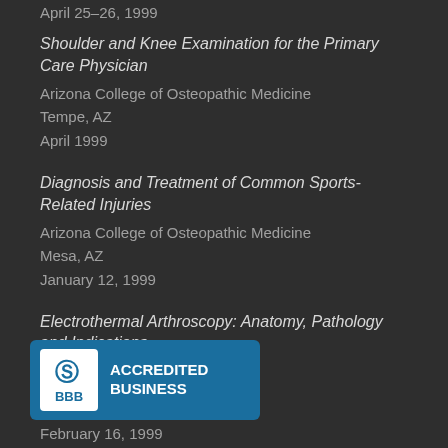April 25–26, 1999
Shoulder and Knee Examination for the Primary Care Physician
Arizona College of Osteopathic Medicine
Tempe, AZ
April 1999
Diagnosis and Treatment of Common Sports-Related Injuries
Arizona College of Osteopathic Medicine
Mesa, AZ
January 12, 1999
Electrothermal Arthroscopy: Anatomy, Pathology and Indications
...ctor
February 16, 1999
[Figure (logo): BBB Accredited Business logo with blue background, white BBB text, and stylized S symbol]